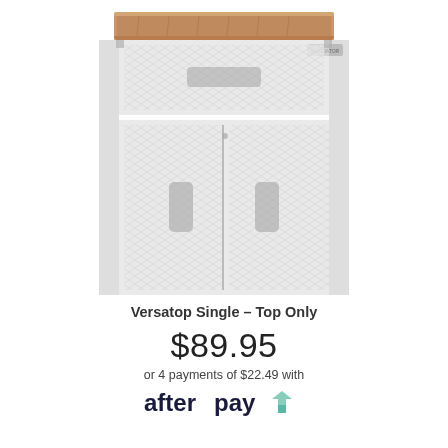[Figure (photo): A garage storage cabinet with diamond-plate pattern white doors (one drawer on top, two doors below) and a wooden butcher-block style countertop. The cabinet frame is light gray. The countertop is shown highlighted while the rest of the cabinet is faded/ghosted.]
Versatop Single – Top Only
$89.95
or 4 payments of $22.49 with
[Figure (logo): Afterpay logo — 'afterpay' in dark navy bold text followed by a mint/teal stylized arrow mark]